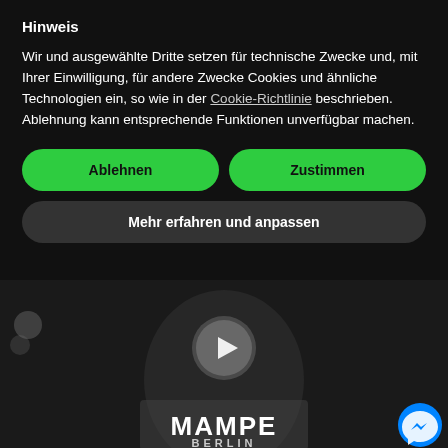Hinweis
Wir und ausgewählte Dritte setzen für technische Zwecke und, mit Ihrer Einwilligung, für andere Zwecke Cookies und ähnliche Technologien ein, so wie in der Cookie-Richtlinie beschrieben. Ablehnung kann entsprechende Funktionen unverfügbar machen.
Ablehnen
Zustimmen
Mehr erfahren und anpassen
[Figure (screenshot): Blurred black and white video background showing a person wearing a MAMPE BERLIN shirt, with a play button overlay circle in the center, a Messenger chat button in the bottom right corner, and two light circles (bokeh) on the left side.]